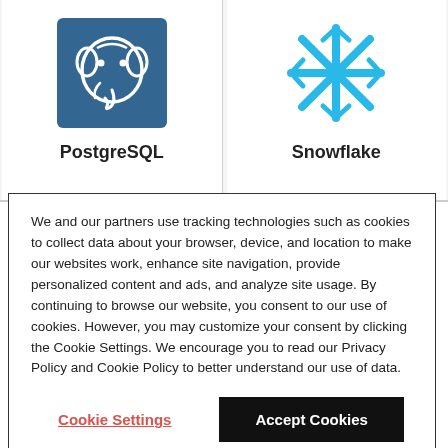[Figure (logo): PostgreSQL elephant logo on blue background square]
PostgreSQL
[Figure (logo): Snowflake cyan snowflake icon]
Snowflake
We and our partners use tracking technologies such as cookies to collect data about your browser, device, and location to make our websites work, enhance site navigation, provide personalized content and ads, and analyze site usage. By continuing to browse our website, you consent to our use of cookies. However, you may customize your consent by clicking the Cookie Settings. We encourage you to read our Privacy Policy and Cookie Policy to better understand our use of data.
Cookie Settings
Accept Cookies